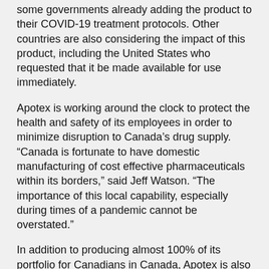some governments already adding the product to their COVID-19 treatment protocols. Other countries are also considering the impact of this product, including the United States who requested that it be made available for use immediately.
Apotex is working around the clock to protect the health and safety of its employees in order to minimize disruption to Canada’s drug supply. “Canada is fortunate to have domestic manufacturing of cost effective pharmaceuticals within its borders,” said Jeff Watson. “The importance of this local capability, especially during times of a pandemic cannot be overstated.”
In addition to producing almost 100% of its portfolio for Canadians in Canada, Apotex is also the largest manufacturer of active pharmaceutical ingredients in the country.
About Apotex Inc.
Apotex Inc. is a proudly Canadian, global pharmaceutical company that produces high-quality, affordable medicines for patients around the world. Apotex employs almost 8,000 people worldwide in manufacturing, R&D, and